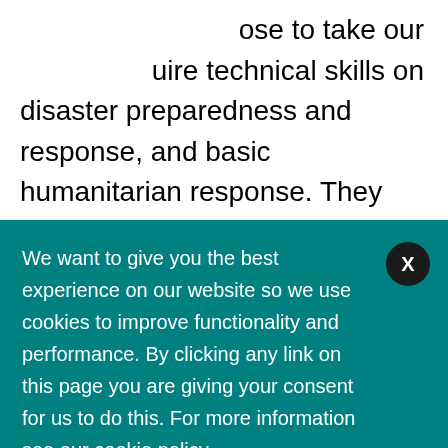ose to take our acquire technical skills on disaster preparedness and response,  and basic humanitarian response. They also gain an increased capacity to comply with internationally
We want to give you the best experience on our website so we use cookies to improve functionality and performance. By clicking any link on this page you are giving your consent for us to do this. For more information see our cookie policy.